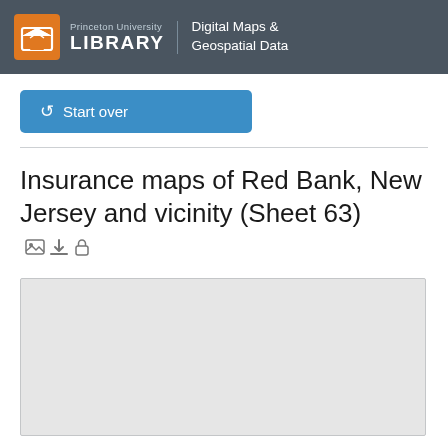Princeton University LIBRARY | Digital Maps & Geospatial Data
Start over
Insurance maps of Red Bank, New Jersey and vicinity (Sheet 63)
[Figure (other): Gray placeholder box representing a map preview area]